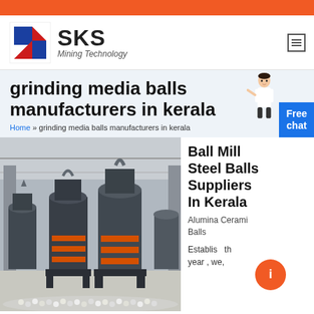[Figure (logo): SKS Mining Technology logo with stylized S icon in red and blue]
grinding media balls manufacturers in kerala
Home » grinding media balls manufacturers in kerala
[Figure (photo): Industrial ball mill machinery in a large warehouse setting with grinding balls on floor]
Ball Mill Steel Balls Suppliers In Kerala
Alumina Ceramic Balls
Established th year , we,